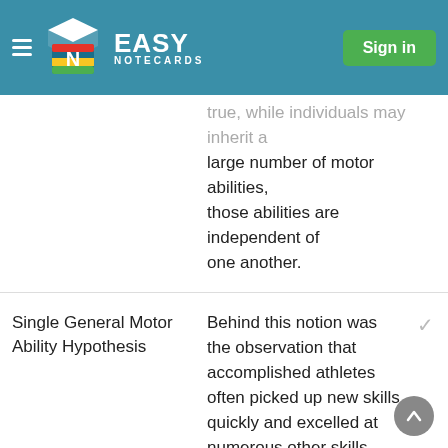Easy Notecards — Sign in
true, while individuals may inherit a large number of motor abilities, those abilities are independent of one another.
Single General Motor Ability Hypothesis
Behind this notion was the observation that accomplished athletes often picked up new skills quickly and excelled at numerous other skills without much practice. Therefore, it seemed reasonable to surmise that there ex- isted a high correlation between one's level of general ability and one's potential for skill proficiency at a variety of tasks.